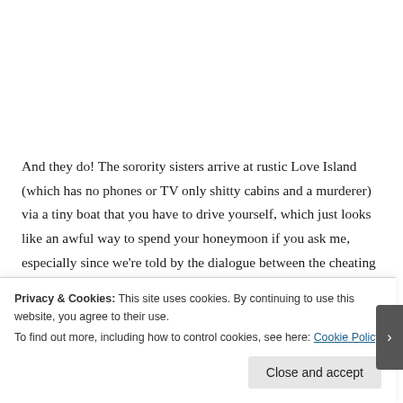And they do! The sorority sisters arrive at rustic Love Island (which has no phones or TV only shitty cabins and a murderer) via a tiny boat that you have to drive yourself, which just looks like an awful way to spend your honeymoon if you ask me, especially since we're told by the dialogue between the cheating couple from the beginning that these three couples are rich. But back to the girls who are decorating: they are immediately killed while disco music plays in the background. I don't know how the boat got back to the town where the sheriff and the chili dogs reside
Privacy & Cookies: This site uses cookies. By continuing to use this website, you agree to their use.
To find out more, including how to control cookies, see here: Cookie Policy